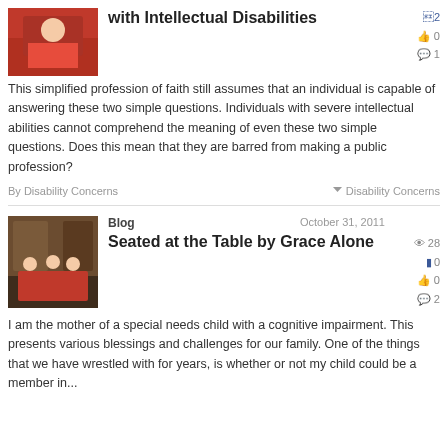[Figure (photo): Thumbnail image of person in red clothing]
with Intellectual Disabilities
This simplified profession of faith still assumes that an individual is capable of answering these two simple questions. Individuals with severe intellectual abilities cannot comprehend the meaning of even these two simple questions. Does this mean that they are barred from making a public profession?
By Disability Concerns
Disability Concerns
[Figure (photo): Children seated at a table eating, warm indoor scene]
Blog
October 31, 2011
Seated at the Table by Grace Alone
I am the mother of a special needs child with a cognitive impairment. This presents various blessings and challenges for our family. One of the things that we have wrestled with for years, is whether or not my child could be a member in...